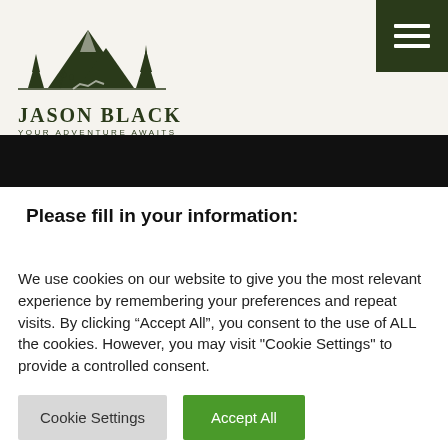[Figure (logo): Jason Black outdoor adventure logo with mountain, trees, and hikers silhouette in dark green]
JASON BLACK
YOUR ADVENTURE AWAITS
Please fill in your information:
We use cookies on our website to give you the most relevant experience by remembering your preferences and repeat visits. By clicking “Accept All”, you consent to the use of ALL the cookies. However, you may visit "Cookie Settings" to provide a controlled consent.